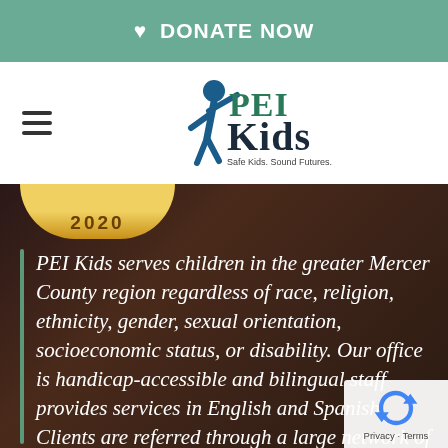♥ DONATE NOW
[Figure (logo): PEI Kids logo — blue figure of a child with arms raised, with 'PEI Kids' text and tagline 'Safe Kids. Sound Futures.']
[Figure (other): 2020 award/charity badge — gold oval at top of dark background section]
PEI Kids serves children in the greater Mercer County region regardless of race, religion, ethnicity, gender, sexual orientation, socioeconomic status, or disability. Our office is handicap-accessible and bilingual staff provides services in English and Spanish. Clients are referred through a large network of community